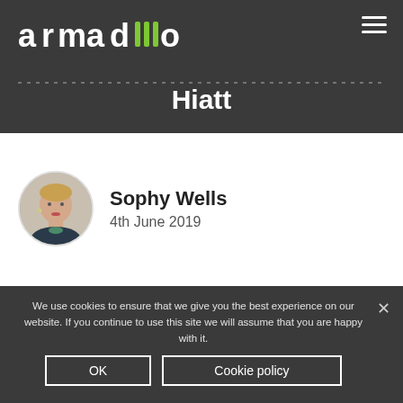armadillo
Hiatt
[Figure (photo): Circular portrait photo of Sophy Wells, a woman with short blonde hair]
Sophy Wells
4th June 2019
We use cookies to ensure that we give you the best experience on our website. If you continue to use this site we will assume that you are happy with it.
OK
Cookie policy